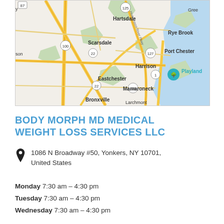[Figure (map): Google Maps view showing Westchester County area including Hartsdale, Scarsdale, Eastchester, Bronxville, Harrison, Mamaroneck, Larchmont, Port Chester, Rye Brook, and Playland. Major roads shown in yellow/orange. Blue water visible on right. Highway markers for routes 87, 125, 100, 22, 127, 1, 25. Playland marked with teal tree icon.]
BODY MORPH MD MEDICAL WEIGHT LOSS SERVICES LLC
1086 N Broadway #50, Yonkers, NY 10701, United States
Monday 7:30 am – 4:30 pm
Tuesday 7:30 am – 4:30 pm
Wednesday 7:30 am – 4:30 pm